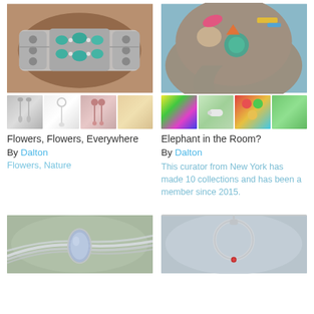[Figure (photo): Silver and turquoise cuff bracelet with multiple oval turquoise stones, displayed on a wooden surface, with thumbnail row below showing earrings and accessories]
Flowers, Flowers, Everywhere
By Dalton
Flowers, Nature
[Figure (photo): Painted elephant close-up showing colorful decorative patterns, with thumbnail row below showing colorful items]
Elephant in the Room?
By Dalton
This curator from New York has made 10 collections and has been a member since 2015.
[Figure (photo): Silver ring with light blue teardrop stone, blurred green background]
[Figure (photo): Silver pendant necklace with circular/hoop element, blurred background]